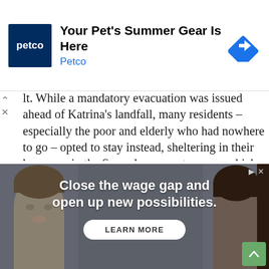[Figure (other): Petco advertisement banner: Petco logo (dark blue square with 'petco' text), headline 'Your Pet's Summer Gear Is Here', subtext 'Petco', and a blue navigation arrow icon on the right.]
lt. While a mandatory evacuation was issued ahead of Katrina's landfall, many residents – especially the poor and elderly who had nowhere to go – opted to stay instead, sheltering in their homes or in the Superdome sports arena, which soon turned into an overcrowded, poorly-planned deathtrap. Ultimately, some 400,000 people were permanently displaced by Katrina, and the city's population numbers have never recovered.
[Figure (other): Advertisement with two faces (man on left, woman on right) on grey background. Text reads: 'Close the wage gap and open up new possibilities.' with a 'LEARN MORE' button.]